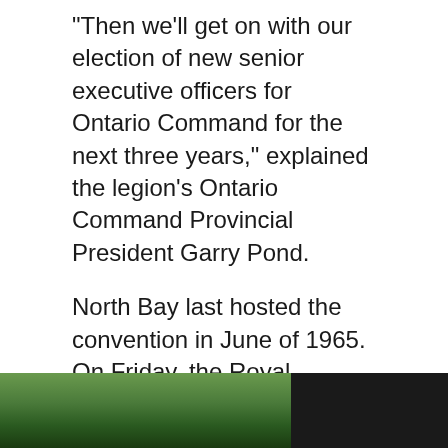"Then we'll get on with our election of new senior executive officers for Ontario Command for the next three years," explained the legion's Ontario Command Provincial President Garry Pond.
North Bay last hosted the convention in June of 1965. On Friday, the Royal Canadian Legion's flag was raised at city hall to kick off proceedings and to welcome the delegates into the city.
"We're so proud to host this," said convention organizer Marc Picard. "We had a social gathering Friday as everyone started to register and attend."
[Figure (photo): Partial view of an outdoor photo, showing green foliage on the left and a dark background on the right, cropped at the bottom of the page.]